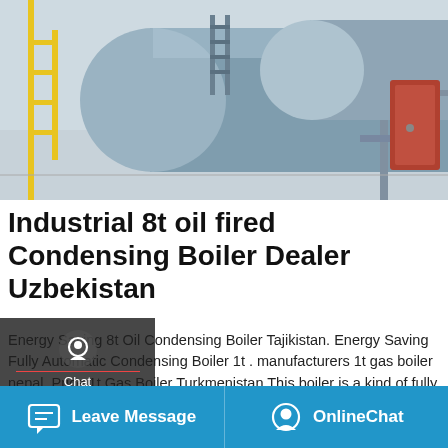[Figure (photo): Industrial boiler equipment in a factory facility. Large cylindrical horizontal boiler with piping and ladders, blue/grey walls.]
Industrial 8t oil fired Condensing Boiler Dealer Uzbekistan
Energy Saving 8t Oil Condensing Boiler Tajikistan. Energy Saving Fully Automatic Condensing Boiler 1t . manufacturers 1t gas boiler nepal. Price 1t Gas Boiler Turkmenistan This boiler is a kind of fully automatic fire tube low pressure oil gas boiler which has steam boiler hot water boiler thermal oil boiler and so on.bangladesh 1t/h boiler - Manufacturer of Electric Steam …
[Figure (screenshot): WhatsApp sticker saver app promo banner with phone and emoji icons, purple-pink gradient background. Text: Save Stickers on WhatsApp]
Leave Message   OnlineChat